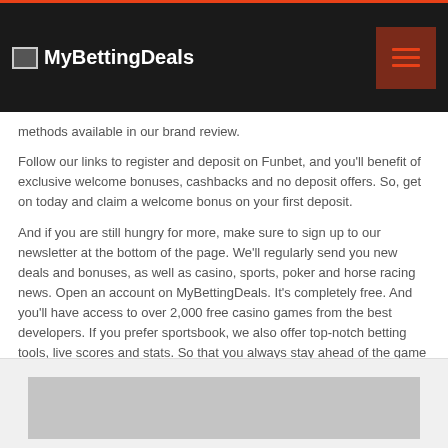MyBettingDeals
methods available in our brand review.
Follow our links to register and deposit on Funbet, and you'll benefit of exclusive welcome bonuses, cashbacks and no deposit offers. So, get on today and claim a welcome bonus on your first deposit.
And if you are still hungry for more, make sure to sign up to our newsletter at the bottom of the page. We'll regularly send you new deals and bonuses, as well as casino, sports, poker and horse racing news. Open an account on MyBettingDeals. It's completely free. And you'll have access to over 2,000 free casino games from the best developers. If you prefer sportsbook, we also offer top-notch betting tools, live scores and stats. So that you always stay ahead of the game and maximize your winnings! MyBettingDeals… iGaming starts here!
[Figure (photo): Gray placeholder image at the bottom of the page]